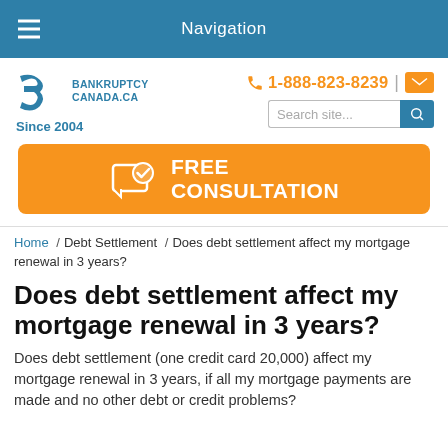Navigation
[Figure (logo): BankruptcyCanada.ca logo with stylized '3' icon and 'Since 2004' tagline]
1-888-823-8239
[Figure (infographic): Orange FREE CONSULTATION button with chat/checkmark icon]
Home / Debt Settlement / Does debt settlement affect my mortgage renewal in 3 years?
Does debt settlement affect my mortgage renewal in 3 years?
Does debt settlement (one credit card 20,000) affect my mortgage renewal in 3 years, if all my mortgage payments are made and no other debt or credit problems?